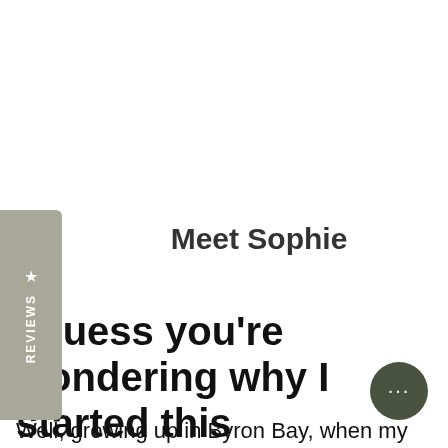Meet Sophie
I guess you're wondering why I started this business?
Well, growing up in Byron Bay, when my son A...